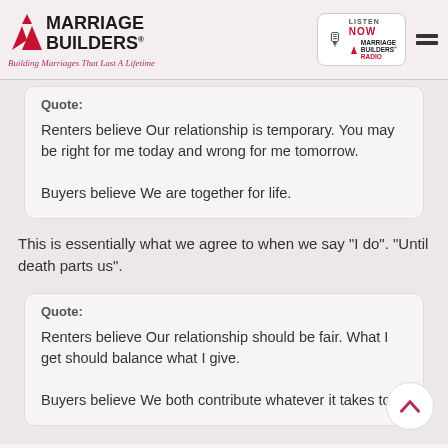Marriage Builders — Building Marriages That Last A Lifetime
Quote:
Renters believe Our relationship is temporary. You may be right for me today and wrong for me tomorrow.

Buyers believe We are together for life.
This is essentially what we agree to when we say "I do". "Until death parts us".
Quote:
Renters believe Our relationship should be fair. What I get should balance what I give.

Buyers believe We both contribute whatever it takes to